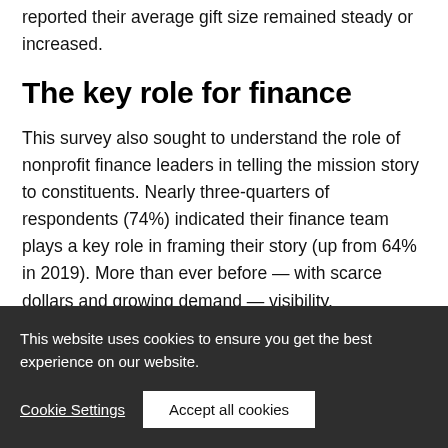reported their average gift size remained steady or increased.
The key role for finance
This survey also sought to understand the role of nonprofit finance leaders in telling the mission story to constituents. Nearly three-quarters of respondents (74%) indicated their finance team plays a key role in framing their story (up from 64% in 2019). More than ever before — with scarce dollars and growing demand — visibility, accountability, and
This website uses cookies to ensure you get the best experience on our website.
Cookie Settings | Accept all cookies